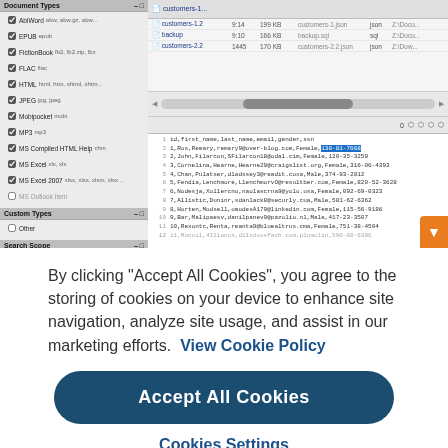[Figure (screenshot): Screenshot of a file manager application showing a list of files (customers-1.2, backup, customers-2.2) and a text viewer displaying CSV data with columns: id, first_name, last_name, email, gender, ssn. Several rows of sample data are visible. Left panel shows Document Types and Custom Types filter options.]
By clicking “Accept All Cookies”, you agree to the storing of cookies on your device to enhance site navigation, analyze site usage, and assist in our marketing efforts. View Cookie Policy
Accept All Cookies
Cookies Settings